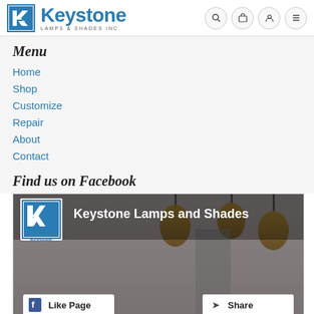Keystone LAMPS & SHADES INC
Menu
Home
Shop
Customize
Repair
About
Contact
Find us on Facebook
[Figure (screenshot): Facebook page widget showing Keystone Lamps and Shades page with Like Page and Share buttons]